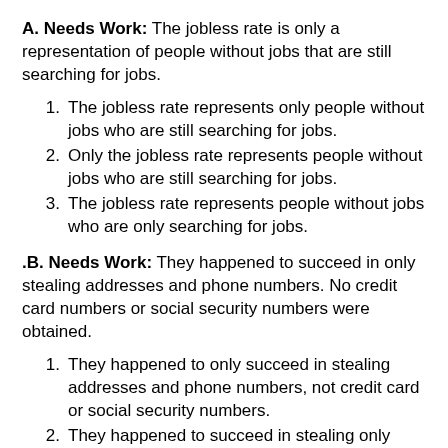A. Needs Work: The jobless rate is only a representation of people without jobs that are still searching for jobs.
1. The jobless rate represents only people without jobs who are still searching for jobs.
2. Only the jobless rate represents people without jobs who are still searching for jobs.
3. The jobless rate represents people without jobs who are only searching for jobs.
.B. Needs Work: They happened to succeed in only stealing addresses and phone numbers. No credit card numbers or social security numbers were obtained.
1. They happened to only succeed in stealing addresses and phone numbers, not credit card or social security numbers.
2. They happened to succeed in stealing only addresses